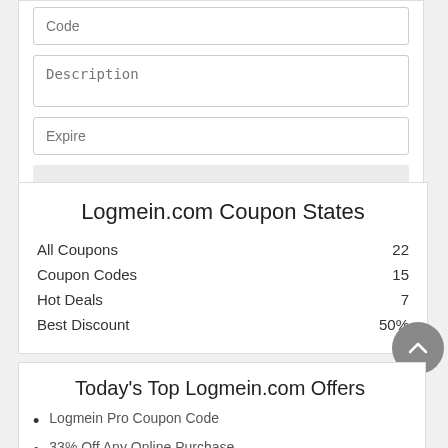Code
Description
Expire
Submit
Logmein.com Coupon States
|  |  |
| --- | --- |
| All Coupons | 22 |
| Coupon Codes | 15 |
| Hot Deals | 7 |
| Best Discount | 50% |
Today's Top Logmein.com Offers
Logmein Pro Coupon Code
33% Off Any Online Purchase